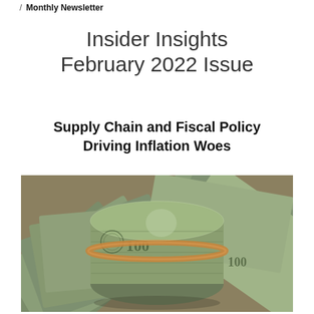/ Monthly Newsletter
Insider Insights February 2022 Issue
Supply Chain and Fiscal Policy Driving Inflation Woes
[Figure (photo): A rolled bundle of US $100 bills secured with a rubber band, surrounded by fanned out $100 bills in the background]